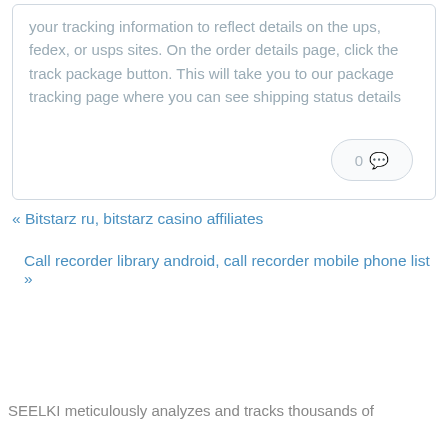your tracking information to reflect details on the ups, fedex, or usps sites. On the order details page, click the track package button. This will take you to our package tracking page where you can see shipping status details
0 💬
« Bitstarz ru, bitstarz casino affiliates
Call recorder library android, call recorder mobile phone list »
SEELKI meticulously analyzes and tracks thousands of